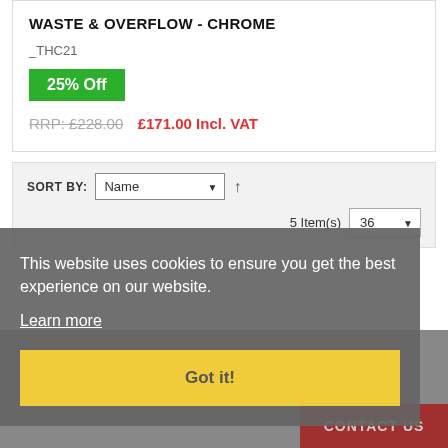WASTE & OVERFLOW - CHROME
_THC21
25% Off
RRP: £228.00   £171.00 Incl. VAT
SORT BY: Name  ↑  5 Item(s)  36
This website uses cookies to ensure you get the best experience on our website.
Learn more
Got it!
CONTACT US